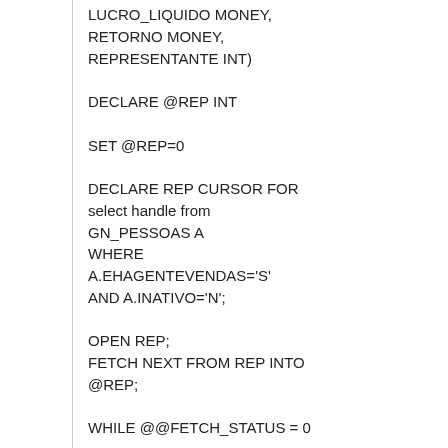LUCRO_LIQUIDO MONEY,
RETORNO MONEY,
REPRESENTANTE INT)

DECLARE @REP INT

SET @REP=0

DECLARE REP CURSOR FOR
select handle from
GN_PESSOAS A
WHERE
A.EHAGENTEVENDAS='S'
AND A.INATIVO='N';

OPEN REP;
FETCH NEXT FROM REP INTO
@REP;

WHILE @@FETCH_STATUS = 0

BEGIN